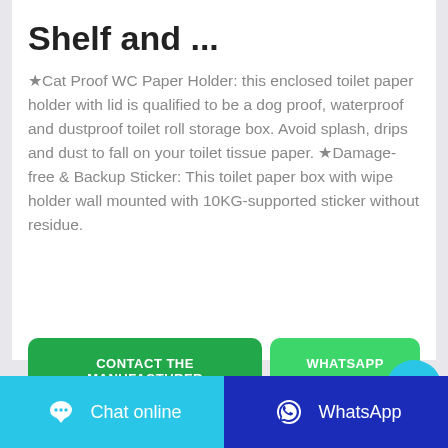Shelf and ...
★Cat Proof WC Paper Holder: this enclosed toilet paper holder with lid is qualified to be a dog proof, waterproof and dustproof toilet roll storage box. Avoid splash, drips and dust to fall on your toilet tissue paper. ★Damage-free & Backup Sticker: This toilet paper box with wipe holder wall mounted with 10KG-supported sticker without residue.
[Figure (screenshot): Two call-to-action buttons: 'CONTACT THE MANUFACTURER' (dark green) and 'WHATSAPP' (bright green), and a cyan circular chat bubble button]
[Figure (screenshot): A gray image preview area at the bottom of the white card]
[Figure (screenshot): Bottom navigation bar with 'Chat online' button (cyan) and 'WhatsApp' button (dark blue) with respective icons]